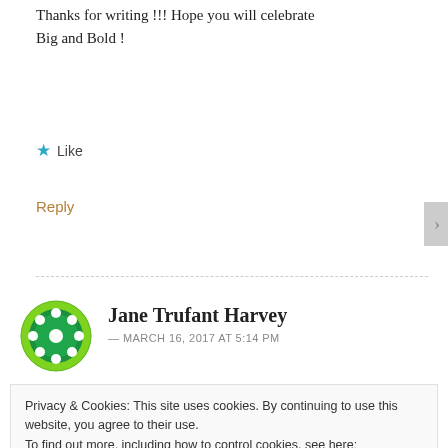Thanks for writing !!! Hope you will celebrate Big and Bold !
★ Like
Reply
Jane Trufant Harvey — MARCH 16, 2017 AT 5:14 PM
Privacy & Cookies: This site uses cookies. By continuing to use this website, you agree to their use.
To find out more, including how to control cookies, see here: Cookie Policy
Close and accept